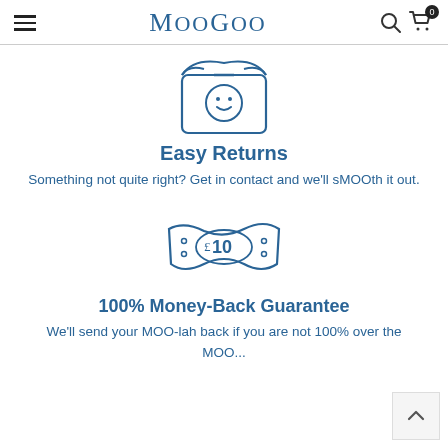MooGoo
[Figure (illustration): Line drawing illustration of an open box/package with a smiley face, representing Easy Returns]
Easy Returns
Something not quite right? Get in contact and we'll sMOOth it out.
[Figure (illustration): Line drawing illustration of a banknote with '10' on it, representing Money-Back Guarantee]
100% Money-Back Guarantee
We'll send your MOO-lah back if you are not 100% over the MOO...